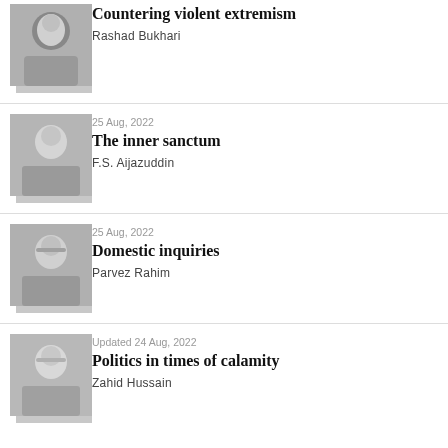[Figure (photo): Black and white headshot of Rashad Bukhari]
Countering violent extremism
Rashad Bukhari
[Figure (photo): Black and white headshot of F.S. Aijazuddin]
25 Aug, 2022
The inner sanctum
F.S. Aijazuddin
[Figure (photo): Black and white headshot of Parvez Rahim]
25 Aug, 2022
Domestic inquiries
Parvez Rahim
[Figure (photo): Black and white headshot of Zahid Hussain]
Updated 24 Aug, 2022
Politics in times of calamity
Zahid Hussain